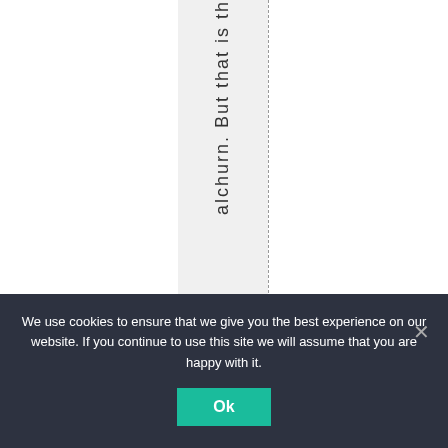alchurn. But that is th
We use cookies to ensure that we give you the best experience on our website. If you continue to use this site we will assume that you are happy with it.
Ok